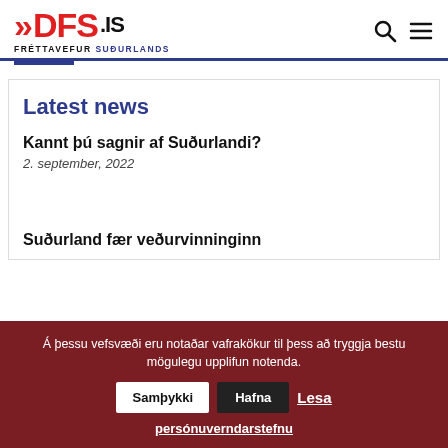DFS.is – Fréttavefur Suðurlands
Latest news
Kannt þú sagnir af Suðurlandi?
2. september, 2022
Suðurland fær veðurvinninginn
Á þessu vefsvæði eru notaðar vafrakökur til þess að tryggja bestu mögulegu upplifun notenda. Samþykki  Hafna  Lesa persónuverndarstefnu